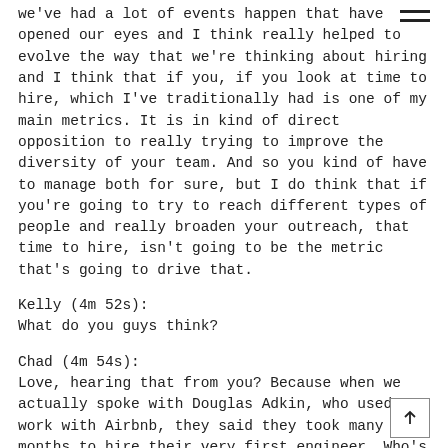we've had a lot of events happen that have opened our eyes and I think really helped to evolve the way that we're thinking about hiring and I think that if you, if you look at time to hire, which I've traditionally had is one of my main metrics. It is in kind of direct opposition to really trying to improve the diversity of your team. And so you kind of have to manage both for sure, but I do think that if you're going to try to reach different types of people and really broaden your outreach, that time to hire, isn't going to be the metric that's going to drive that.
Kelly (4m 52s):
What do you guys think?
Chad (4m 54s):
Love, hearing that from you? Because when we actually spoke with Douglas Adkin, who used to work with Airbnb, they said they took many months to hire their very first engineer. Who's not one of the founders and they took much longer than they should have because they had